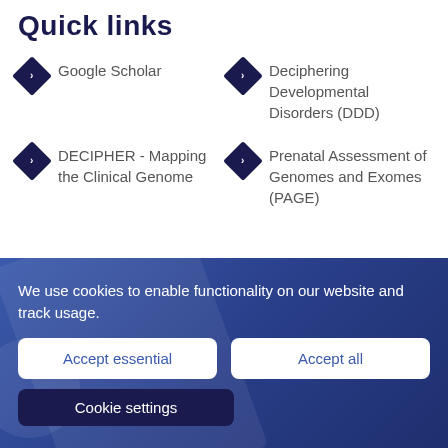Quick links
Google Scholar
Deciphering Developmental Disorders (DDD)
DECIPHER - Mapping the Clinical Genome
Prenatal Assessment of Genomes and Exomes (PAGE)
We use cookies to enable functionality on our website and track usage.
Accept essential
Accept all
Cookie settings